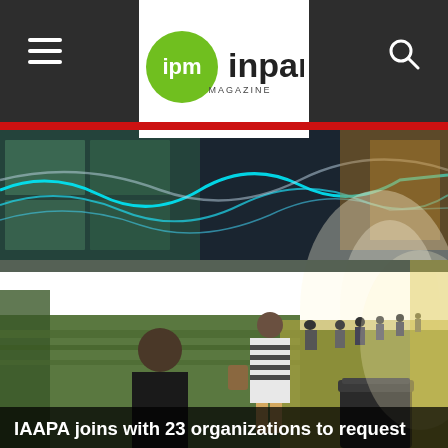ipm inpark MAGAZINE
[Figure (photo): People riding a moving walkway in an airport terminal with colorful abstract light art installation on the ceiling. The walkway extends into the distance with people walking along it. A trash can is visible in the foreground right.]
IAAPA joins with 23 organizations to request